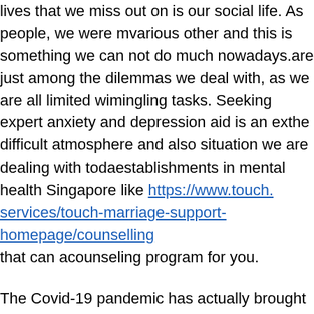lives that we miss out on is our social life. As people, we were made to mingle with various other and this is something we can not do much nowadays. Work as well as house chores are just among the dilemmas we deal with, as we are all limited with time to do socializing or mingling tasks. Seeking expert anxiety and depression aid is an excellent way to cope with the difficult atmosphere and also situation we are dealing with today. There are mental health establishments in mental health Singapore like https://www.touch.org.sg/about-touch/our-services/touch-marriage-support-homepage/counselling that can aid and recommend the best counseling program for you.
The Covid-19 pandemic has actually brought about not only physical health issues, yet also stress on our overall psychological health also. And while looking after our physical wellness is extremely important, we need to not neglect our mental health too. It would be very valuable to take some break from the negative vibes produced by the reports and also stories we see on TV and social media sites. Clinical depression can be easily developed in the middle of this health and wellness situation and so it would be best to seek anxiety and depression help, preferably from an approved institution in mental health Singapore.
Couples are not excluded from the issues as well as stress and anxiousness that the pandemic provides. With a considerable variety of people getting divorced nowadays, financial economic issues are bound to burn out pairs as they struggle to survive. Mental health and also health-related anxiousness can additionally occur as the circumstance worsens.